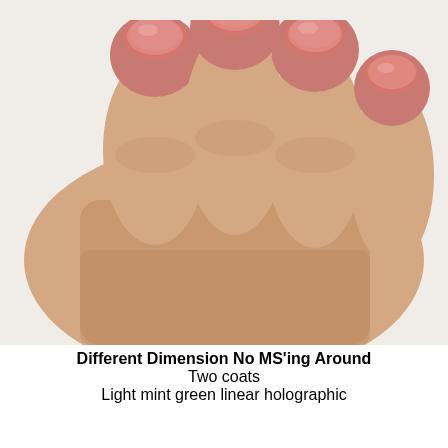[Figure (photo): Close-up photograph of a hand with coral/salmon pink shimmer nail polish on the fingernails, viewed from the top/side angle against a light background.]
Different Dimension No MS'ing Around
Two coats
Light mint green linear holographic
[Figure (photo): Close-up photograph of a hand with light mint green holographic nail polish, showing thumb and index finger prominently against a light background, with a nail polish bottle partially visible at the bottom left.]